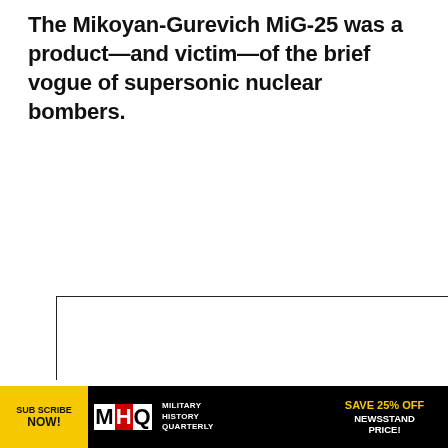The Mikoyan-Gurevich MiG-25 was a product—and victim—of the brief vogue of supersonic nuclear bombers.
[Figure (photo): Empty white image box with a 'WEAPONS & GEAR MANUAL' label in red text on a white box overlaid at the bottom center]
'VAMPIRE' TO TRANSFORM UKRAINE PICKUPS INTO DEADL' MISSILE LAUNCHERS
[Figure (other): Advertisement banner for Military History Quarterly: yellow 'Subscribe Now!' circle on left, MHQ logo in center, 'SAVE 25% OFF NEWSSTAND PRICE!' on right]